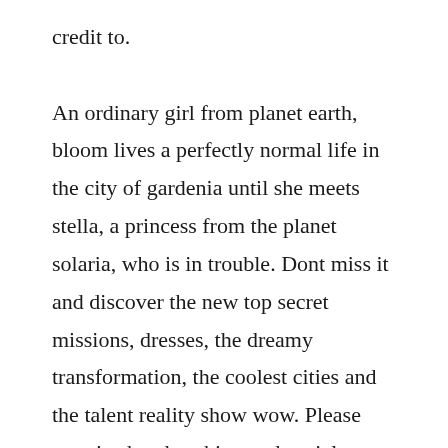credit to. An ordinary girl from planet earth, bloom lives a perfectly normal life in the city of gardenia until she meets stella, a princess from the planet solaria, who is in trouble. Dont miss it and discover the new top secret missions, dresses, the dreamy transformation, the coolest cities and the talent reality show wow. Please practice handwashing and social distancing, and check out our resources for adapting to these times. Jul 02, 2015 winx club english is your destination to enter the